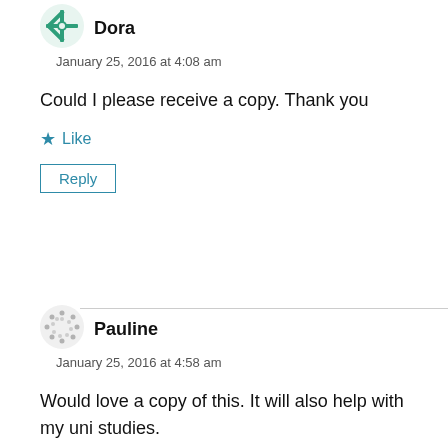[Figure (illustration): Avatar icon for user Dora - green snowflake/cross pattern circle]
Dora
January 25, 2016 at 4:08 am
Could I please receive a copy. Thank you
★ Like
Reply
[Figure (illustration): Avatar icon for user Pauline - dotted circle pattern]
Pauline
January 25, 2016 at 4:58 am
Would love a copy of this. It will also help with my uni studies.
sthnbelle@yahoo.com.au